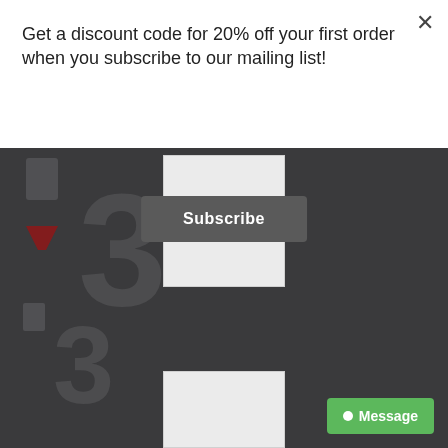Get a discount code for 20% off your first order when you subscribe to our mailing list!
[Figure (screenshot): Subscribe button in a modal popup with dark grey background and white bold text reading 'Subscribe']
[Figure (logo): Dark background section with large watermark logo showing '!3' in dark grey, a red accent mark, and white placeholder card images. A green 'Message' button is in the bottom right corner.]